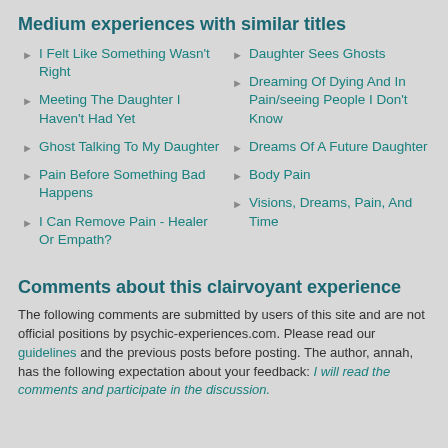Medium experiences with similar titles
I Felt Like Something Wasn't Right
Meeting The Daughter I Haven't Had Yet
Ghost Talking To My Daughter
Pain Before Something Bad Happens
I Can Remove Pain - Healer Or Empath?
Daughter Sees Ghosts
Dreaming Of Dying And In Pain/seeing People I Don't Know
Dreams Of A Future Daughter
Body Pain
Visions, Dreams, Pain, And Time
Comments about this clairvoyant experience
The following comments are submitted by users of this site and are not official positions by psychic-experiences.com. Please read our guidelines and the previous posts before posting. The author, annah, has the following expectation about your feedback: I will read the comments and participate in the discussion.